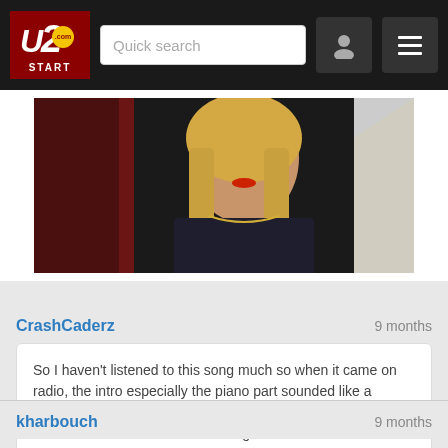U2.com START — Quick search
[Figure (photo): Video thumbnail showing a woman with blonde hair wearing a dark jacket and gold necklace, against a dark red curtain background]
CrashCaderz   9 months
So I haven't listened to this song much so when it came on radio, the intro especially the piano part sounded like a Coldplay song until I heard Bono sing. And it didn't get past the first verse until someone changed the radio station lol.
kharbouch   9 months